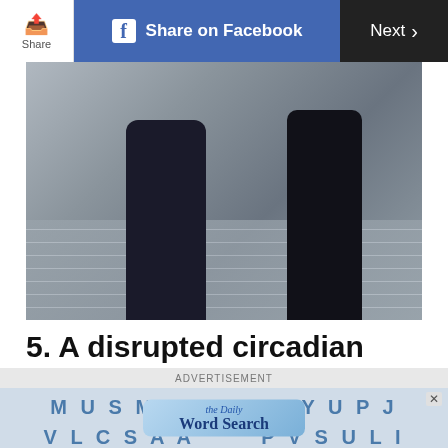Share  |  Share on Facebook  |  Next
[Figure (photo): Two people walking up outdoor concrete stairs, photographed from behind. One person wears dark jeans and a jacket, the other wears dark pants and a jacket.]
5. A disrupted circadian clock
Joanna Runciman, author of the Radiant Woman's Handbook, says we need some sunlight so that our body clocks can tell the time. Circadian rhythms regulate everything from metabolism to sleep. If you're in a windowless office, get outside
ADVERTISEMENT